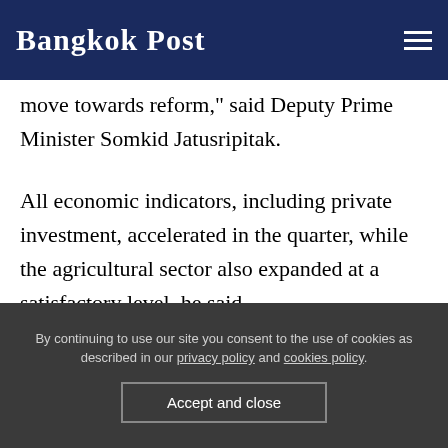Bangkok Post
move towards reform," said Deputy Prime Minister Somkid Jatusripitak.
All economic indicators, including private investment, accelerated in the quarter, while the agricultural sector also expanded at a satisfactory level, he said.
The agricultural sector also...
By continuing to use our site you consent to the use of cookies as described in our privacy policy and cookies policy.
Accept and close